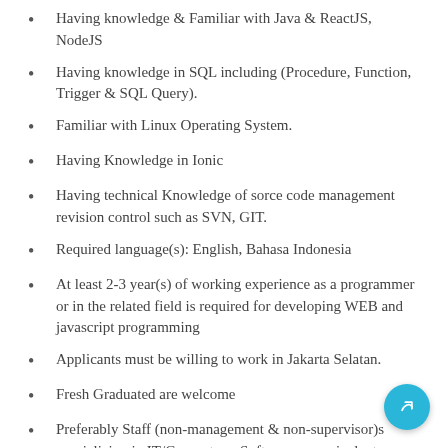Having knowledge & Familiar with Java & ReactJS, NodeJS
Having knowledge in SQL including (Procedure, Function, Trigger & SQL Query).
Familiar with Linux Operating System.
Having Knowledge in Ionic
Having technical Knowledge of sorce code management revision control such as SVN, GIT.
Required language(s): English, Bahasa Indonesia
At least 2-3 year(s) of working experience as a programmer or in the related field is required for developing WEB and javascript programming
Applicants must be willing to work in Jakarta Selatan.
Fresh Graduated are welcome
Preferably Staff (non-management & non-supervisor)s specializing in IT/Computer – Software or equivalent.
Full-Time position(s) available.
2. Product Specialist